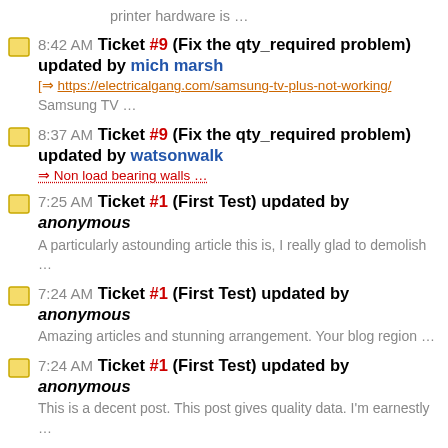printer hardware is …
8:42 AM Ticket #9 (Fix the qty_required problem) updated by mich marsh
https://electricalgang.com/samsung-tv-plus-not-working/
Samsung TV …
8:37 AM Ticket #9 (Fix the qty_required problem) updated by watsonwalk
Non load bearing walls …
7:25 AM Ticket #1 (First Test) updated by anonymous
A particularly astounding article this is, I really glad to demolish …
7:24 AM Ticket #1 (First Test) updated by anonymous
Amazing articles and stunning arrangement. Your blog region …
7:24 AM Ticket #1 (First Test) updated by anonymous
This is a decent post. This post gives quality data. I'm earnestly …
7:23 AM Ticket #1 (First Test) updated by anonymous